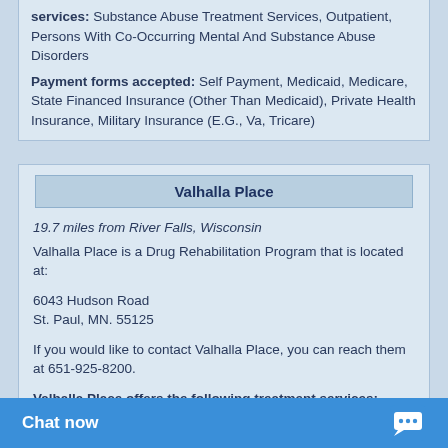services: Substance Abuse Treatment Services, Outpatient, Persons With Co-Occurring Mental And Substance Abuse Disorders
Payment forms accepted: Self Payment, Medicaid, Medicare, State Financed Insurance (Other Than Medicaid), Private Health Insurance, Military Insurance (E.G., Va, Tricare)
Valhalla Place
19.7 miles from River Falls, Wisconsin
Valhalla Place is a Drug Rehabilitation Program that is located at:
6043 Hudson Road
St. Paul, MN. 55125
If you would like to contact Valhalla Place, you can reach them at 651-925-8200.
Valhalla Place offers the following treatment services: Substance Abuse Treatment Services, Outpatient, Persons With Co-Occurring Mental And Substance Abuse Disorders, Gays And Lesbians, Women, Men, Dui/Dwi Offenders, Spanish, Other Languages.
Payment forms accepted: ... State Financed Insurance (O...
Chat now